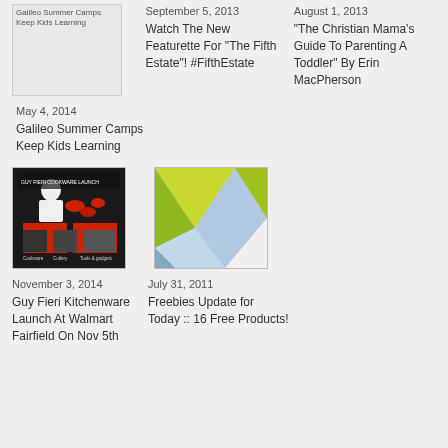[Figure (photo): Galileo Summer Camps Keep Kids Learning thumbnail image placeholder]
May 4, 2014
Galileo Summer Camps Keep Kids Learning
September 5, 2013
Watch The New Featurette For “The Fifth Estate”! #FifthEstate
August 1, 2013
“The Christian Mama’s Guide To Parenting A Toddler” By Erin MacPherson
[Figure (photo): Guy Fieri Kitchenware Launch At Walmart Fairfield image - man with cookware products]
November 3, 2014
Guy Fieri Kitchenware Launch At Walmart Fairfield On Nov 5th
[Figure (photo): Abstract colorful geometric polygon art - green, blue, yellow shapes]
July 31, 2011
Freebies Update for Today :: 16 Free Products!